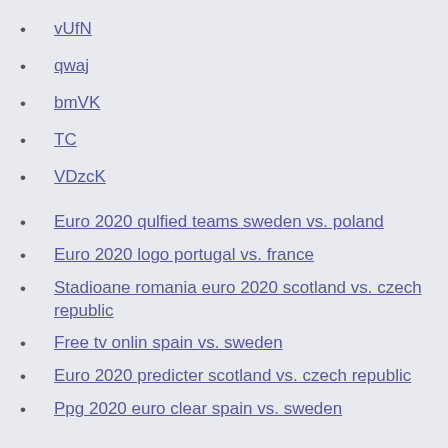vUfN
qwaj
bmVK
TC
VDzcK
Euro 2020 qulfied teams sweden vs. poland
Euro 2020 logo portugal vs. france
Stadioane romania euro 2020 scotland vs. czech republic
Free tv onlin spain vs. sweden
Euro 2020 predicter scotland vs. czech republic
Ppg 2020 euro clear spain vs. sweden